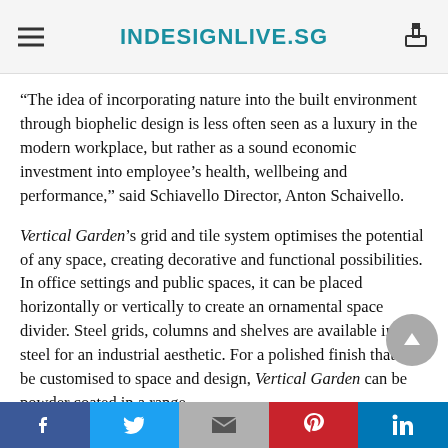INDESIGNLIVE.SG
“The idea of incorporating nature into the built environment through biophelic design is less often seen as a luxury in the modern workplace, but rather as a sound economic investment into employee’s health, wellbeing and performance,” said Schiavello Director, Anton Schaivello.
Vertical Garden’s grid and tile system optimises the potential of any space, creating decorative and functional possibilities. In office settings and public spaces, it can be placed horizontally or vertically to create an ornamental space divider. Steel grids, columns and shelves are available in raw steel for an industrial aesthetic. For a polished finish that can be customised to space and design, Vertical Garden can be powder coated in a range
f  t  M  Ⓟ  in